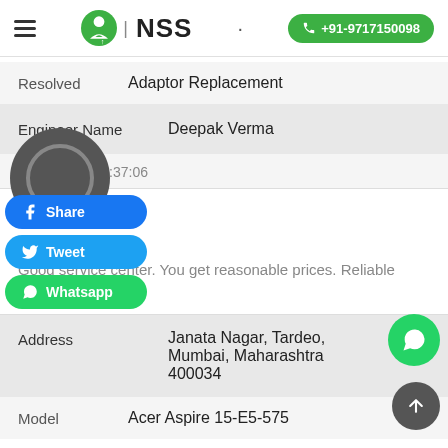NSS | +91-9717150098
Resolved   Adaptor Replacement
| Field | Value |
| --- | --- |
| Engineer Name | Deepak Verma |
2021-08-16 12:37:06
5 ★
Somya
Good service center. You get reasonable prices. Reliable guys.
| Field | Value |
| --- | --- |
| Address | Janata Nagar, Tardeo, Mumbai, Maharashtra 400034 |
| Model | Acer Aspire 15-E5-575 |